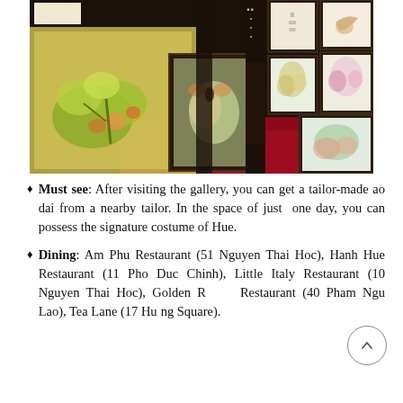[Figure (photo): Interior of an art gallery showing framed paintings hung on dark walls, with a red carpet floor. In the foreground, a large illuminated display case contains silk embroidery artwork of flowers and birds. Multiple framed artworks visible on the walls.]
Must see: After visiting the gallery, you can get a tailor-made ao dai from a nearby tailor. In the space of just one day, you can possess the signature costume of Hue.
Dining: Am Phu Restaurant (51 Nguyen Thai Hoc), Hanh Hue Restaurant (11 Pho Duc Chinh), Little Italy Restaurant (10 Nguyen Thai Hoc), Golden Rice Restaurant (40 Pham Ngu Lao), Tea Lane (17 Hung Square).